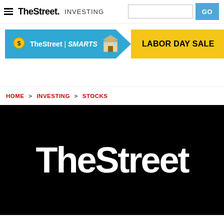TheStreet INVESTING
[Figure (logo): TheStreet Smarts banner with blue background and arrow shape, coin icon and building icon]
[Figure (infographic): Yellow LABOR DAY SALE button]
HOME > INVESTING > STOCKS
[Figure (logo): TheStreet logo in white on black background]